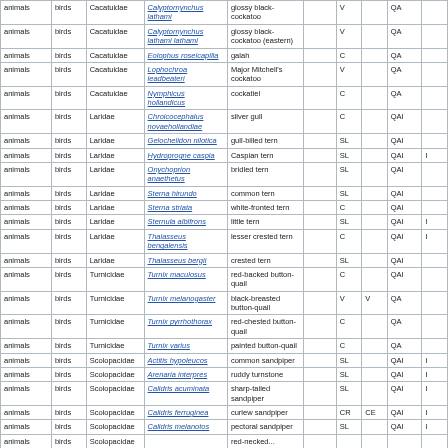|  | birds | Family | Scientific name | Common name |  |  |  |  |  |
| --- | --- | --- | --- | --- | --- | --- | --- | --- | --- |
| animals | birds | Cacatuidae | Calyptornynchus lathami | glossy black-cockatoo | V |  | QA |  |
| animals | birds | Cacatuidae | Calyptornynchus lathami lathami | glossy black-cockatoo (eastern) | V |  | QA |  |
| animals | birds | Cacatuidae | Eolophus roseicapilla | galah | C |  | QA |  |
| animals | birds | Cacatuidae | Lophochroa leadbeateri | Major Mitchell's cockatoo | V |  | QA |  |
| animals | birds | Cacatuidae | Nymphicus hollandicus | cockatiel | C |  | QA |  |
| animals | birds | Laridae | Chroicocephalus novaehollandiae | silver gull | C |  | QAI |  |
| animals | birds | Laridae | Gelochelidon nilotica | gull-billed tern | SL |  | QAI |  |
| animals | birds | Laridae | Hydroprogne caspia | Caspian tern | SL |  | QAI | I |
| animals | birds | Laridae | Onychoprion anaethetus | bridled tern | SL |  | QAI |  |
| animals | birds | Laridae | Sterna hirundo | common tern | SL |  | QAI |  |
| animals | birds | Laridae | Sterna striata | white-fronted tern | C |  | QAI |  |
| animals | birds | Laridae | Sternula albifrons | little tern | SL |  | QAI | I |
| animals | birds | Laridae | Thalasseus bengalensis | lesser crested tern | C |  | QAI | I |
| animals | birds | Laridae | Thalasseus bergii | crested tern | SL |  | QAI |  |
| animals | birds | Turnicidae | Turnix maculosus | red-backed button-quail | C |  | QAI |  |
| animals | birds | Turnicidae | Turnix melanogaster | black-breasted button-quail | V | V | QA |  |
| animals | birds | Turnicidae | Turnix pyrrhothorax | red-chested button-quail | C |  | QA |  |
| animals | birds | Turnicidae | Turnix varius | painted button-quail | C |  | QA |  |
| animals | birds | Scolopacidae | Actitis hypoleucos | common sandpiper | SL |  | QAI | I |
| animals | birds | Scolopacidae | Arenaria interpres | ruddy turnstone | SL |  | QAI | I |
| animals | birds | Scolopacidae | Calidris acuminata | sharp-tailed sandpiper | SL |  | QAI | I |
| animals | birds | Scolopacidae | Calidris ferruginea | curlew sandpiper | CR | CE | QAI | I |
| animals | birds | Scolopacidae | Calidris melanotos | pectoral sandpiper | SL |  | QAI | I |
| animals | birds | Scolopacidae |  | red-necked... |  |  |  |  |